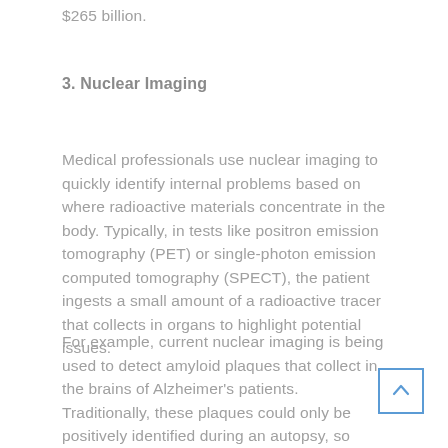$265 billion.
3. Nuclear Imaging
Medical professionals use nuclear imaging to quickly identify internal problems based on where radioactive materials concentrate in the body. Typically, in tests like positron emission tomography (PET) or single-photon emission computed tomography (SPECT), the patient ingests a small amount of a radioactive tracer that collects in organs to highlight potential issues.
For example, current nuclear imaging is being used to detect amyloid plaques that collect in the brains of Alzheimer's patients. Traditionally, these plaques could only be positively identified during an autopsy, so